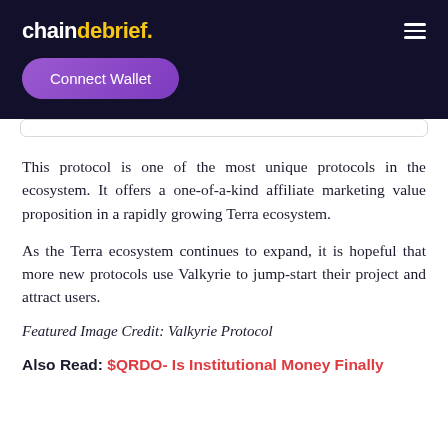chaindebrief.
Connect Wallet
This protocol is one of the most unique protocols in the ecosystem. It offers a one-of-a-kind affiliate marketing value proposition in a rapidly growing Terra ecosystem.
As the Terra ecosystem continues to expand, it is hopeful that more new protocols use Valkyrie to jump-start their project and attract users.
Featured Image Credit: Valkyrie Protocol
Also Read: $QRDO- Is Institutional Money Finally